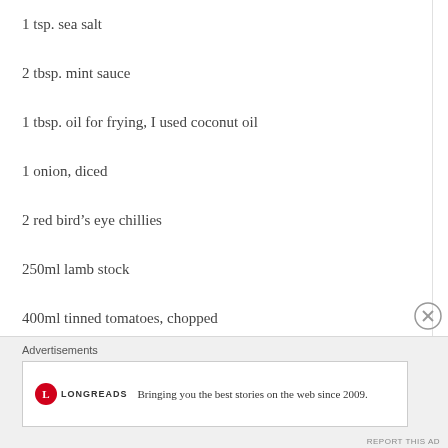1 tsp. sea salt
2 tbsp. mint sauce
1 tbsp. oil for frying, I used coconut oil
1 onion, diced
2 red bird’s eye chillies
250ml lamb stock
400ml tinned tomatoes, chopped
2 tbsp. soft brown sugar
Advertisements
Bringing you the best stories on the web since 2009.